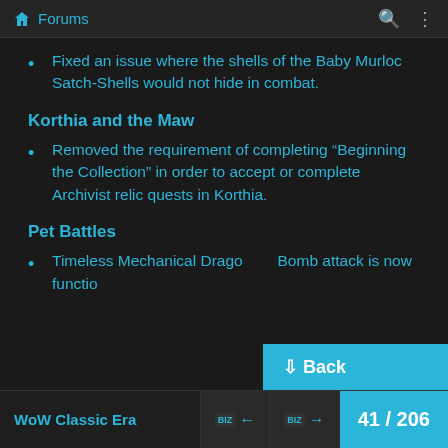Forums
Fixed an issue where the shells of the Baby Murloc Satch-Shells would not hide in combat.
Korthia and the Maw
Removed the requirement of completing “Beginning the Collection” in order to accept or complete Archivist relic quests in Korthia.
Pet Battles
Timeless Mechanical Drago... Bomb attack is now functional.
WoW Classic Era  41 / 206